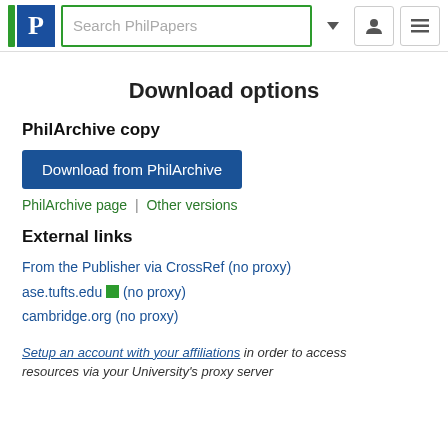Search PhilPapers
Download options
PhilArchive copy
Download from PhilArchive
PhilArchive page | Other versions
External links
From the Publisher via CrossRef (no proxy)
ase.tufts.edu [lock icon] (no proxy)
cambridge.org (no proxy)
Setup an account with your affiliations in order to access resources via your University's proxy server